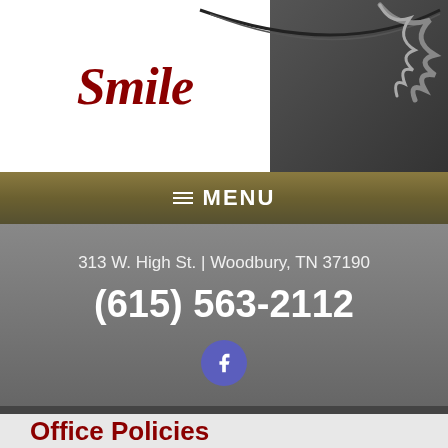[Figure (logo): Smile dental office logo with cursive red text 'Smile' and a curved arc/eyelash graphic on dark background]
[Figure (infographic): Navigation menu bar with hamburger icon and MENU text on gold/brown background]
313 W. High St. | Woodbury, TN 37190
(615) 563-2112
[Figure (logo): Facebook icon button, blue circle with white f]
Office Policies